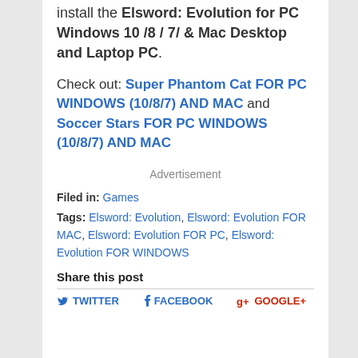install the Elsword: Evolution for PC Windows 10 /8 / 7/ & Mac Desktop and Laptop PC.
Check out: Super Phantom Cat FOR PC WINDOWS (10/8/7) AND MAC and Soccer Stars FOR PC WINDOWS (10/8/7) AND MAC
Advertisement
Filed in: Games
Tags: Elsword: Evolution, Elsword: Evolution FOR MAC, Elsword: Evolution FOR PC, Elsword: Evolution FOR WINDOWS
Share this post
TWITTER   FACEBOOK   GOOGLE+